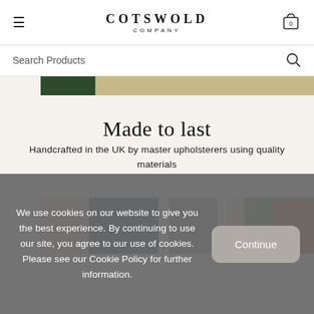COTSWOLD COMPANY
Search Products
[Figure (photo): Top portion of a product/lifestyle image showing dark green and tan/gold horizontal bands]
Made to last
Handcrafted in the UK by master upholsterers using quality materials
[Figure (photo): Fabric swatches showing pink, navy blue, taupe/grey, light pink, olive green, and rust/terracotta colors]
We use cookies on our website to give you the best experience. By continuing to use our site, you agree to our use of cookies. Please see our Cookie Policy for further information.